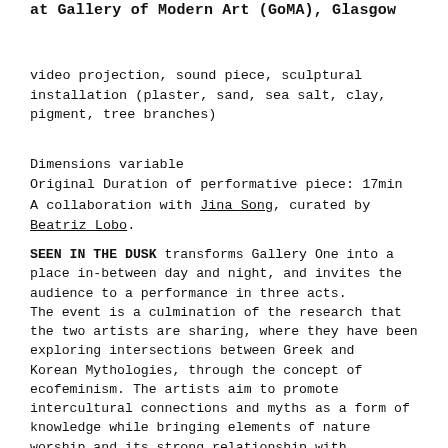at Gallery of Modern Art (GoMA), Glasgow
video projection, sound piece, sculptural installation (plaster, sand, sea salt, clay, pigment, tree branches)
Dimensions variable
Original Duration of performative piece: 17min
A collaboration with Jina Song, curated by Beatriz Lobo.
SEEN IN THE DUSK transforms Gallery One into a place in-between day and night, and invites the audience to a performance in three acts. The event is a culmination of the research that the two artists are sharing, where they have been exploring intersections between Greek and Korean Mythologies, through the concept of ecofeminism. The artists aim to promote intercultural connections and myths as a form of knowledge while bringing elements of nature worship and its strong relationship with womanhood. This collaboration celebrates respect, changes, and cycles. Throughout the three acts, the artists perform offerings as appreciation for